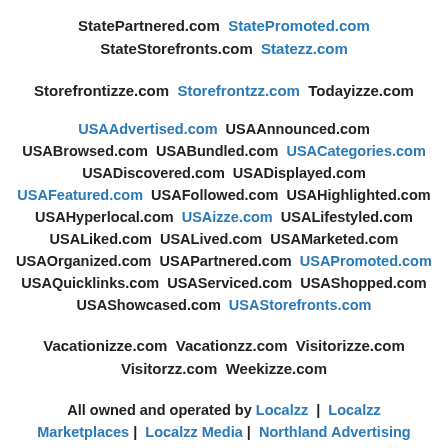StatePartnered.com  StatePromoted.com  StateStorefronts.com  Statezz.com
Storefrontizze.com  Storefrontzz.com  Todayizze.com
USAAdvertised.com  USAAnnounced.com  USABrowsed.com  USABundled.com  USACategories.com  USADiscovered.com  USADisplayed.com  USAFeatured.com  USAFollowed.com  USAHighlighted.com  USAHyperlocal.com  USAizze.com  USALifestyled.com  USALiked.com  USALived.com  USAMarketed.com  USAOrganized.com  USAPartnered.com  USAPromoted.com  USAQuicklinks.com  USAServiced.com  USAShopped.com  USAShowcased.com  USAStorefronts.com
Vacationizze.com  Vacationzz.com  Visitorizze.com  Visitorzz.com  Weekizze.com
All owned and operated by Localzz | Localzz Marketplaces | Localzz Media | Northland Advertising LLC